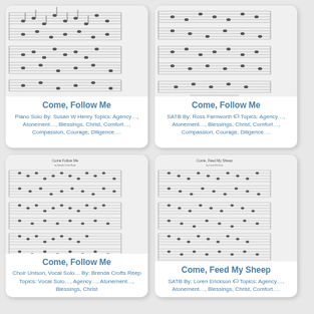[Figure (illustration): Sheet music preview for Come, Follow Me piano solo]
Come, Follow Me
Piano Solo By: Susan W Henry Topics: Agency…, Atonement…, Blessings, Christ, Comfort…, Compassion, Courage, Diligence….
[Figure (illustration): Sheet music preview for Come, Follow Me SATB]
Come, Follow Me
SATB By: Ross Farnworth 🏷 Topics: Agency…, Atonement…, Blessings, Christ, Comfort…, Compassion, Courage, Diligence….
[Figure (illustration): Sheet music preview for Come, Follow Me Choir Unison Vocal Solo]
Come, Follow Me
Choir Unison, Vocal Solo… By: Brenda Crofts Reep Topics: Vocal Solo…, Agency…, Atonement…, Blessings, Christ
[Figure (illustration): Sheet music preview for Come, Feed My Sheep SATB]
Come, Feed My Sheep
SATB By: Loren Erickson 🏷 Topics: Agency…, Atonement…, Blessings, Christ, Comfort….